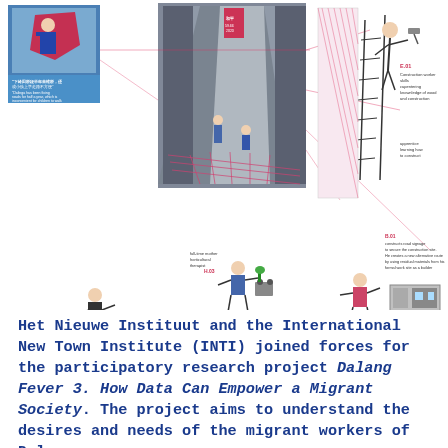[Figure (infographic): Composite infographic illustration for Dalang Fever project showing multiple vignettes: a photo of a person holding a red shape with Chinese text and English translation quote about road being closed; a central photograph of an alleyway/street scene; line drawings of various figures including a full-time mother horticultural therapist (H.03), security guard (B.01), construction worker skills diagram (E.01) showing carpentry and knowledge of wood and construction, an apprentice learning how to construct, a connector/organizer figure (B.01) who constructs road signage, a network figure, with pink/red diagonal lines connecting elements and various annotations.]
Het Nieuwe Instituut and the International New Town Institute (INTI) joined forces for the participatory research project Dalang Fever 3. How Data Can Empower a Migrant Society. The project aims to understand the desires and needs of the migrant workers of Dalang, a